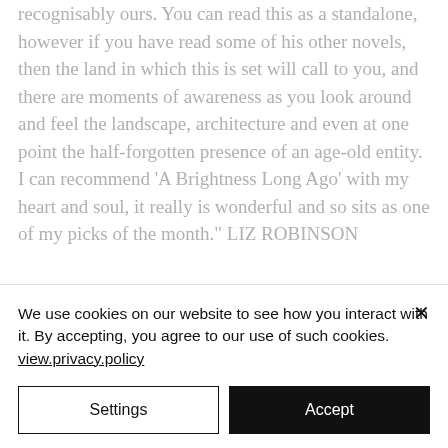recognisably ours. You can read this as a standalone, however if you have read some of his other novels, then the land in which this is set will call to you, and there are moments of awareness as you look around and feel the landscape, architecture and even at one point the half-forgotten presence of an age-old entity. I can recommend 'A Brightness Long Ago' with my heart and soul, it really is wonderful and so sits as one of my picks of the month." LIZ ROBINSON
We use cookies on our website to see how you interact with it. By accepting, you agree to our use of such cookies. view.privacy.policy
Settings
Accept